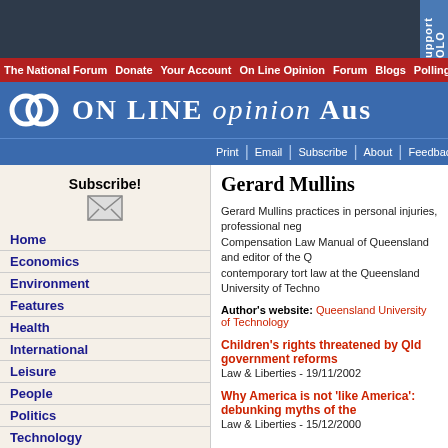ON LINE opinion Australia
The National Forum | Donate | Your Account | On Line Opinion | Forum | Blogs | Polling
Print | Email | Subscribe | About | Feedback | Legals
Gerard Mullins
Gerard Mullins practices in personal injuries, professional neg... Compensation Law Manual of Queensland and editor of the Q... contemporary tort law at the Queensland University of Techno...
Author's website: Queensland University of Technology
Children's rights threatened by Qld government reforms
Law & Liberties - 19/11/2002
Why America is not 'like America': debunking myths of the...
Law & Liberties - 15/12/2000